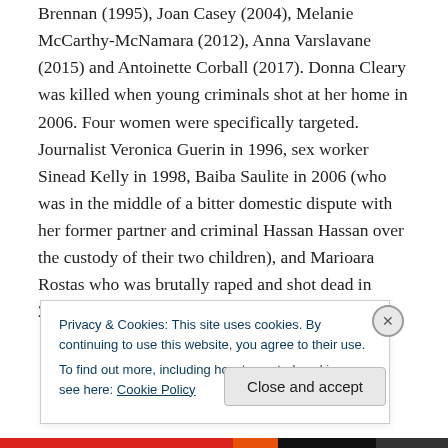Brennan (1995), Joan Casey (2004), Melanie McCarthy-McNamara (2012), Anna Varslavane (2015) and Antoinette Corball (2017). Donna Cleary was killed when young criminals shot at her home in 2006. Four women were specifically targeted. Journalist Veronica Guerin in 1996, sex worker Sinead Kelly in 1998, Baiba Saulite in 2006 (who was in the middle of a bitter domestic dispute with her former partner and criminal Hassan Hassan over the custody of their two children), and Marioara Rostas who was brutally raped and shot dead in 2008 by a gangland
Privacy & Cookies: This site uses cookies. By continuing to use this website, you agree to their use.
To find out more, including how to control cookies, see here: Cookie Policy
Close and accept